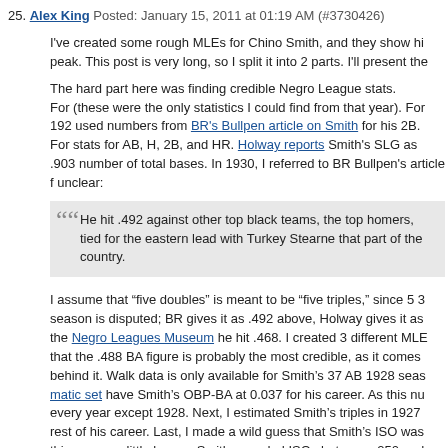25. Alex King Posted: January 15, 2011 at 01:19 AM (#3730426)
I've created some rough MLEs for Chino Smith, and they show hi peak. This post is very long, so I split it into 2 parts. I'll present the
The hard part here was finding credible Negro League stats. For (these were the only statistics I could find from that year). For 192 used numbers from BR's Bullpen article on Smith for his 2B. For stats for AB, H, 2B, and HR. Holway reports Smith's SLG as .903 number of total bases. In 1930, I referred to BR Bullpen's article f unclear:
He hit .492 against other top black teams, the top homers, tied for the eastern lead with Turkey Stearne that part of the country.
I assume that “five doubles” is meant to be “five triples,” since 5 3 season is disputed; BR gives it as .492 above, Holway gives it as the Negro Leagues Museum he hit .468. I created 3 different MLE that the .488 BA figure is probably the most credible, as it comes behind it. Walk data is only available for Smith's 37 AB 1928 seas matic set have Smith's OBP-BA at 0.037 for his career. As this nu every year except 1928. Next, I estimated Smith's triples in 1927 rest of his career. Last, I made a wild guess that Smith's ISO was this seems a little low, as Smith recorded ISOs between .250 and still developing as a hitter in 1925 and 1926 and would not have d
Actual Stats
| Year | AVG | HR | 2B | 3B | H | TB | AB | OBP | SL |
| --- | --- | --- | --- | --- | --- | --- | --- | --- | --- |